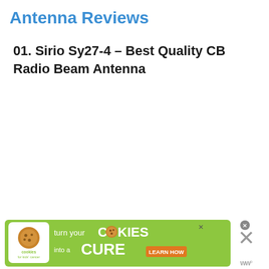Antenna Reviews
01. Sirio Sy27-4 – Best Quality CB Radio Beam Antenna
[Figure (infographic): Advertisement banner: green background with 'cookies for kids cancer' badge, text 'turn your COOKIES into a CURE LEARN HOW', with a close button X and a W logo mark on the right side.]